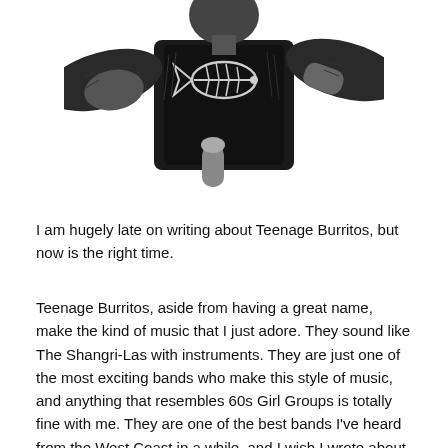[Figure (illustration): Black and white ink illustration of a person wearing a dark jacket with a fish skeleton/bones design on it, holding what appears to be a microphone or drink cup. Arms are outstretched. The image is cropped at the top.]
I am hugely late on writing about Teenage Burritos, but now is the right time.
Teenage Burritos, aside from having a great name, make the kind of music that I just adore. They sound like The Shangri-Las with instruments. They are just one of the most exciting bands who make this style of music, and anything that resembles 60s Girl Groups is totally fine with me. They are one of the best bands I've heard from the West Coast in a while, and I wish I wrote about them sooner than this. I've missed out way too much.